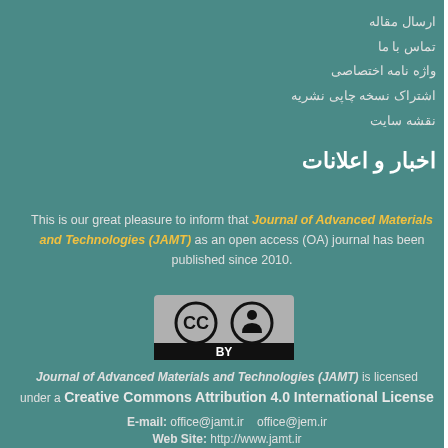ارسال مقاله
تماس با ما
واژه نامه اختصاصی
اشتراک نسخه چاپی نشریه
نقشه سایت
اخبار و اعلانات
This is our great pleasure to inform that Journal of Advanced Materials and Technologies (JAMT) as an open access (OA) journal has been published since 2010.
[Figure (logo): Creative Commons BY license logo - grey background with CC and person icon symbols and BY text]
Journal of Advanced Materials and Technologies (JAMT) is licensed under a Creative Commons Attribution 4.0 International License
E-mail: office@jamt.ir   office@jem.ir
Web Site: http://www.jamt.ir